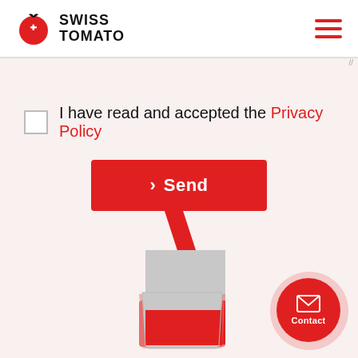SWISS TOMATO
I have read and accepted the Privacy Policy
> Send
[Figure (illustration): Illustrated tomato juice glass with a red straw, partially filled with red liquid, gray upper portion]
Contact